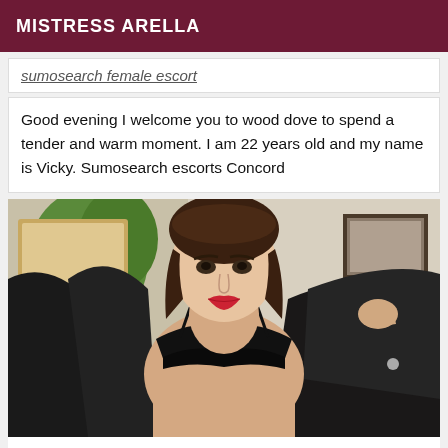MISTRESS ARELLA
sumosearch female escort
Good evening I welcome you to wood dove to spend a tender and warm moment. I am 22 years old and my name is Vicky. Sumosearch escorts Concord
[Figure (photo): Young woman in black bra holding open a black jacket, standing in a room with plants and furniture visible in background]
rascal with fairy hands